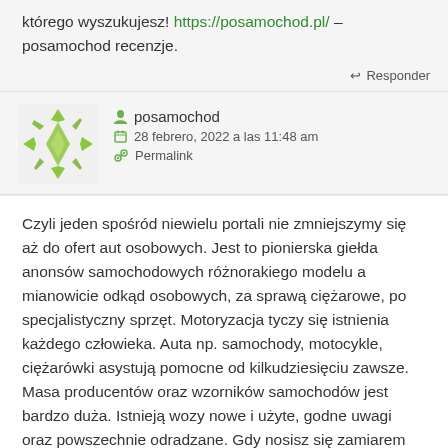którego wyszukujesz! https://posamochod.pl/ – posamochod recenzje.
Responder
posamochod
28 febrero, 2022 a las 11:48 am
Permalink
Czyli jeden spośród niewielu portali nie zmniejszymy się aż do ofert aut osobowych. Jest to pionierska giełda anonsów samochodowych różnorakiego modelu a mianowicie odkąd osobowych, za sprawą ciężarowe, po specjalistyczny sprzęt. Motoryzacja tyczy się istnienia każdego człowieka. Auta np. samochody, motocykle, ciężarówki asystują pomocne od kilkudziesięciu zawsze. Masa producentów oraz wzorników samochodów jest bardzo duża. Istnieją wozy nowe i użyte, godne uwagi oraz powszechnie odradzane. Gdy nosisz się zamiarem nowy samochód, należy wybierać należytą firmę i mamy pełną listę